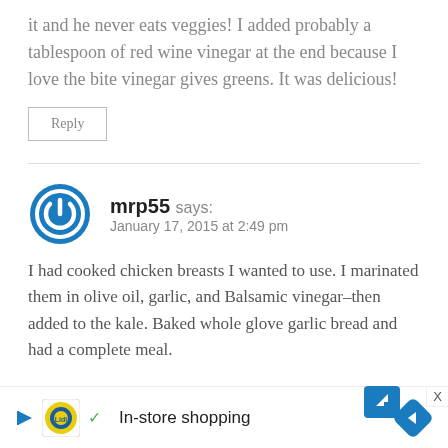it and he never eats veggies! I added probably a tablespoon of red wine vinegar at the end because I love the bite vinegar gives greens. It was delicious!
Reply
mrp55 says:
January 17, 2015 at 2:49 pm
I had cooked chicken breasts I wanted to use. I marinated them in olive oil, garlic, and Balsamic vinegar–then added to the kale. Baked whole glove garlic bread and had a complete meal.
[Figure (logo): Lidl advertisement banner with logo, checkmark, 'In-store shopping' text, and navigation arrow icon]